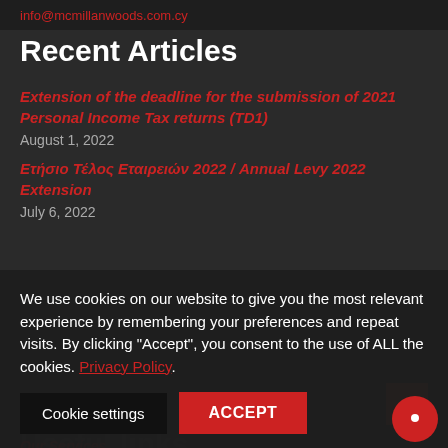info@mcmillanwoods.com.cy
Recent Articles
Extension of the deadline for the submission of 2021 Personal Income Tax returns (TD1)
August 1, 2022
Ετήσιο Τέλος Εταιρειών 2022 / Annual Levy 2022 Extension
July 6, 2022
We use cookies on our website to give you the most relevant experience by remembering your preferences and repeat visits. By clicking “Accept”, you consent to the use of ALL the cookies. Privacy Policy.
Useful links
Our Services